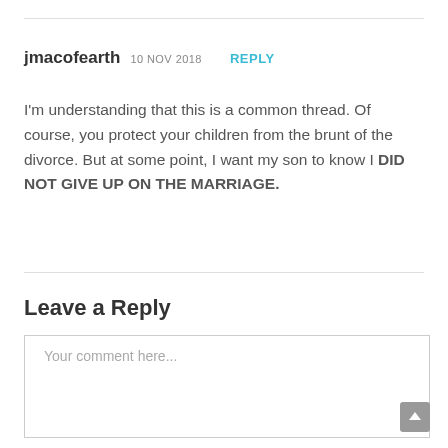jmacofearth 10 NOV 2018 REPLY
I'm understanding that this is a common thread. Of course, you protect your children from the brunt of the divorce. But at some point, I want my son to know I DID NOT GIVE UP ON THE MARRIAGE.
Leave a Reply
Your comment here...